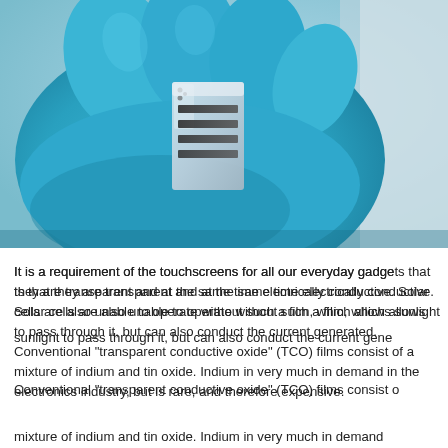[Figure (photo): Close-up photograph of a blue-gloved hand holding a small transparent electronic component or solar cell device with black electrode strips visible on a glass substrate.]
It is a requirement of the touchscreens for all our everyday gadgets that they are transparent and at the same time electrically conductive. Solar cells are also unable to operate without such a film, which allows sunlight to pass through it, but can also conduct the current generated. Conventional "transparent conductive oxide" (TCO) films consist of a mixture of indium and tin oxide. Indium in very much in demand in the electronics industry, but is rare, and therefore expensive.